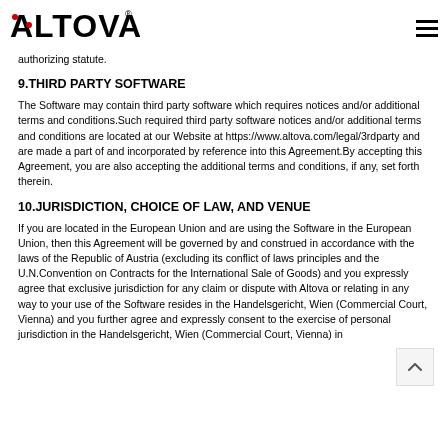ALTOVA
authorizing statute.
9.THIRD PARTY SOFTWARE
The Software may contain third party software which requires notices and/or additional terms and conditions.Such required third party software notices and/or additional terms and conditions are located at our Website at https://www.altova.com/legal/3rdparty and are made a part of and incorporated by reference into this Agreement.By accepting this Agreement, you are also accepting the additional terms and conditions, if any, set forth therein.
10.JURISDICTION, CHOICE OF LAW, AND VENUE
If you are located in the European Union and are using the Software in the European Union, then this Agreement will be governed by and construed in accordance with the laws of the Republic of Austria (excluding its conflict of laws principles and the U.N.Convention on Contracts for the International Sale of Goods) and you expressly agree that exclusive jurisdiction for any claim or dispute with Altova or relating in any way to your use of the Software resides in the Handelsgericht, Wien (Commercial Court, Vienna) and you further agree and expressly consent to the exercise of personal jurisdiction in the Handelsgericht, Wien (Commercial Court, Vienna) in